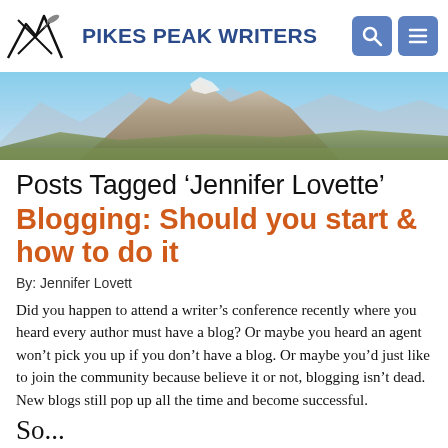[Figure (logo): Pikes Peak Writers logo with mountain/pen graphic and blue bold text]
[Figure (photo): Mountain landscape banner photo showing Pikes Peak with blue sky]
Posts Tagged ‘Jennifer Lovette’
Blogging: Should you start & how to do it
By: Jennifer Lovett
Did you happen to attend a writer’s conference recently where you heard every author must have a blog? Or maybe you heard an agent won’t pick you up if you don’t have a blog. Or maybe you’d just like to join the community because believe it or not, blogging isn’t dead. New blogs still pop up all the time and become successful.
So...